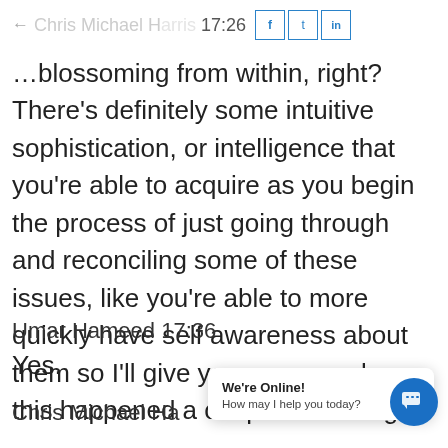Chris Michael Harris 17:26
…blossoming from within, right? There's definitely some intuitive sophistication, or intelligence that you're able to acquire as you begin the process of just going through and reconciling some of these issues, like you're able to more quickly have self awareness about them so I'll give you an example, this happened a couple weeks ago,
Umar Hameed 17:36
Yes.
Chris Michael Ha
We're Online! How may I help you today?